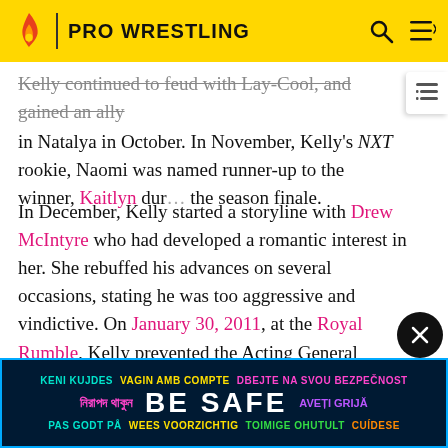PRO WRESTLING
Kelly continued to feud with Lay-Cool, and gained an ally in Natalya in October. In November, Kelly's NXT rookie, Naomi was named runner-up to the winner, Kaitlyn during the season finale.
In December, Kelly started a storyline with Drew McIntyre who had developed a romantic interest in her. She rebuffed his advances on several occasions, stating he was too aggressive and vindictive. On January 30, 2011, at the Royal Rumble, Kelly prevented the Acting General Manager Vickie Guerrero from interfering in the World Heavyweight Championship match between Edge and Dolph Ziggler. On the following episode of SmackDown, Kelly and...two-on-three handicap match to retain Edge's World
[Figure (infographic): BE SAFE multilingual safety banner with text in multiple languages and colors on dark blue background]